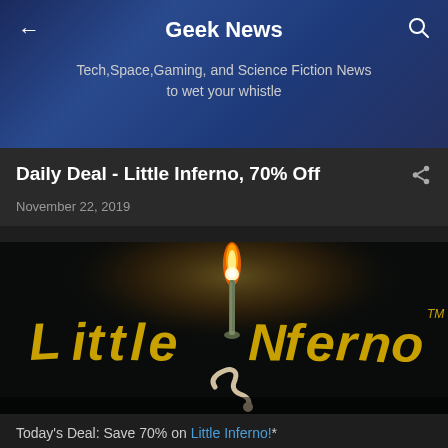Geek News
Tech,Space,Gaming, and Science Fiction News to wet your whistle
Daily Deal - Little Inferno, 70% Off
November 22, 2019
[Figure (photo): Little Inferno game logo — stylized golden/yellow text on dark background with a lit candle serving as the 'I' in Inferno, with a worm character at the base of the candle]
Today's Deal: Save 70% on Little Inferno!*